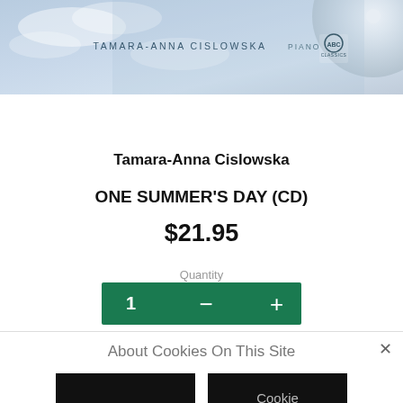[Figure (photo): Product image of CD album 'One Summer's Day' by Tamara-Anna Cislowska on ABC Classics label, showing a light blue sky background with text 'TAMARA-ANNA CISLOWSKA PIANO' and ABC Classics logo, with a CD disc partially visible on the right]
Tamara-Anna Cislowska
ONE SUMMER'S DAY (CD)
$21.95
Quantity
1 — +
About Cookies On This Site
I Understand
Cookie Choices